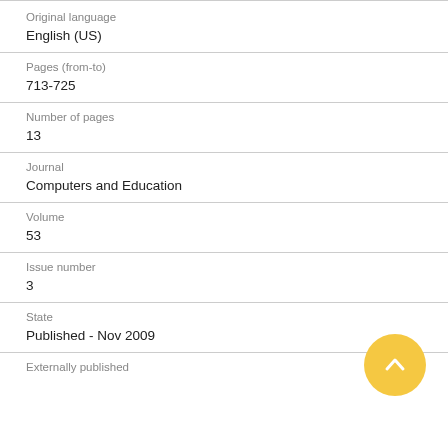Original language
English (US)
Pages (from-to)
713-725
Number of pages
13
Journal
Computers and Education
Volume
53
Issue number
3
State
Published - Nov 2009
Externally published